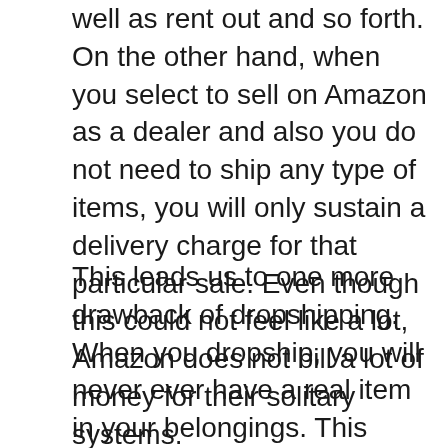well as rent out and so forth. On the other hand, when you select to sell on Amazon as a dealer and also you do not need to ship any type of items, you will only sustain a delivery charge for that particular sale. Even though this could not feel like a lot, Amazon does not bill a lot of money for their solitary systems.
This leads us to one more drawback of dropshipping. When you dropship, you will never ever have a real item in your belongings. This means you will be accountable for handling the inventory. The dropshipper will certainly look after it. You are responsible for supplying the item, packaging and also saving it. It will be up to you exactly how you pack and ship the